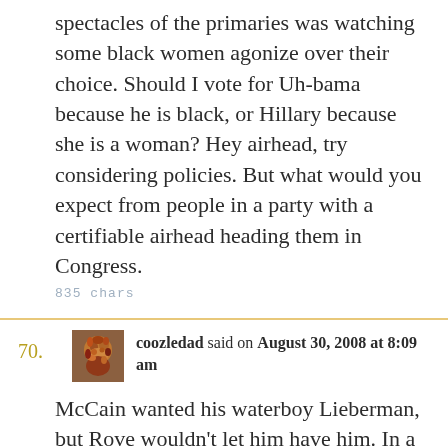spectacles of the primaries was watching some black women agonize over their choice. Should I vote for Uh-bama because he is black, or Hillary because she is a woman? Hey airhead, try considering policies. But what would you expect from people in a party with a certifiable airhead heading them in Congress.
835 chars
70. coozledad said on August 30, 2008 at 8:09 am
McCain wanted his waterboy Lieberman, but Rove wouldn't let him have him. In a